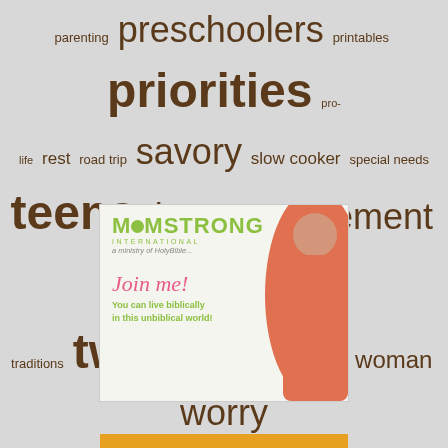[Figure (infographic): Tag cloud with words: parenting, preschoolers, printables, priorities, pro-life, rest, road trip, savory, slow cooker, special needs, teens, time management, toddlers, traditions, tweens, woman to woman, worry and fear — displayed in varying font sizes in brown/dark tan color on light gray background]
[Figure (illustration): MomStrong International advertisement banner. Shows MOMSTRONG INTERNATIONAL logo in green, 'a ministry of HolyBible...' tagline, cursive pink 'Join me!' text, green bold text 'You can live biblically in this unbiblical world!', and a woman in coral/salmon top pointing to the right side of the image.]